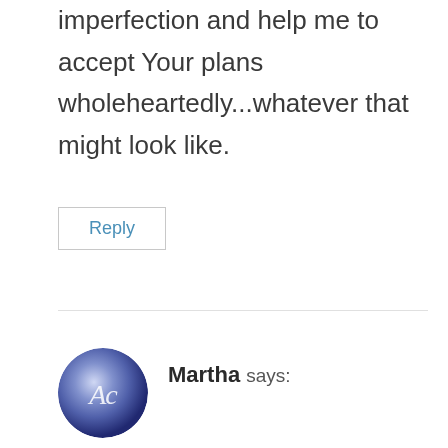myself. Help me to be comfortable with imperfection and help me to accept Your plans wholeheartedly...whatever that might look like.
Reply
Martha says:
“I’m focused on Christ!” is my heart’s desire.